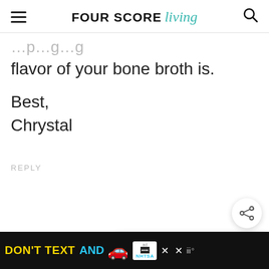FOUR SCORE living
flavor of your bone broth is.
Best,
Chrysal
REPLY
[Figure (screenshot): Share button (floating circle with share icon)]
[Figure (screenshot): WHAT'S NEXT arrow banner with Low Carb Blueberry... image and text]
[Figure (screenshot): Advertisement bar: DON'T TEXT AND with car emoji, ad logo, NHTSA branding, close X buttons]